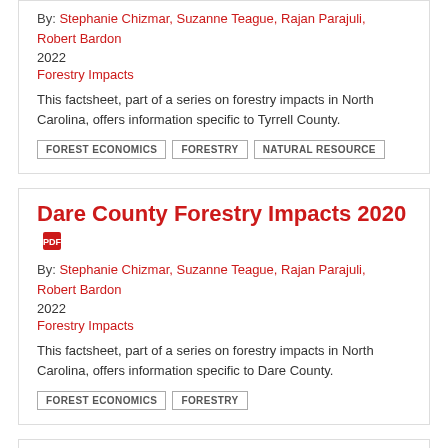By: Stephanie Chizmar, Suzanne Teague, Rajan Parajuli, Robert Bardon
2022
Forestry Impacts
This factsheet, part of a series on forestry impacts in North Carolina, offers information specific to Tyrrell County.
FOREST ECONOMICS
FORESTRY
NATURAL RESOURCE
Dare County Forestry Impacts 2020
By: Stephanie Chizmar, Suzanne Teague, Rajan Parajuli, Robert Bardon
2022
Forestry Impacts
This factsheet, part of a series on forestry impacts in North Carolina, offers information specific to Dare County.
FOREST ECONOMICS
FORESTRY
Transylvania County Forestry Impacts